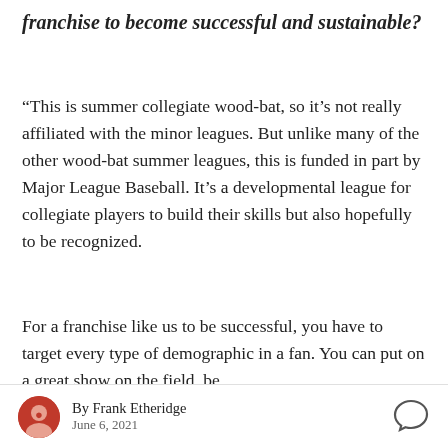franchise to become successful and sustainable?
“This is summer collegiate wood-bat, so it’s not really affiliated with the minor leagues. But unlike many of the other wood-bat summer leagues, this is funded in part by Major League Baseball. It’s a developmental league for collegiate players to build their skills but also hopefully to be recognized.
For a franchise like us to be successful, you have to target every type of demographic in a fan. You can put on a great show on the field, be
By Frank Etheridge
June 6, 2021